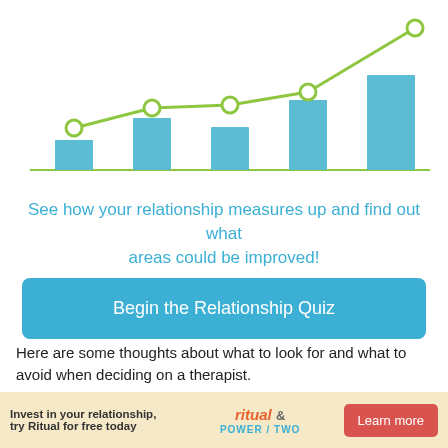[Figure (line-chart): A combined bar and line chart showing relationship score improvements across 5 categories, with blue bars and a green line with circle markers trending upward.]
See how your relationship measures up and find out what areas could be improved!
Begin the Relationship Quiz
Here are some thoughts about what to look for and what to avoid when deciding on a therapist.
1. Avoid therapists that let you continue your negative
Invest in your relationship, try Ritual for free today